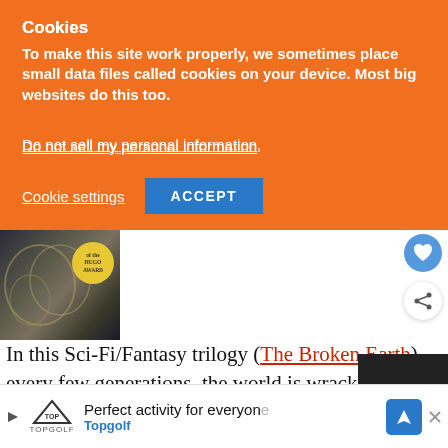Cookies
To make this site work properly, we sometimes place small data files called cookies on your device. Most big websites do this too.
Do not sell my personal information.
Cookie settings   ACCEPT
[Figure (photo): Book cover with Hugo Award badge, dark ornate design]
In this Sci-Fi/Fantasy trilogy (The Broken Earth), every few generations, the world is wracked by catastrophic, apocalyptic climate events. A select number of people
WHAT'S NEXT → Zombie Apocalypse...
Perfect activity for everyone   Topgolf